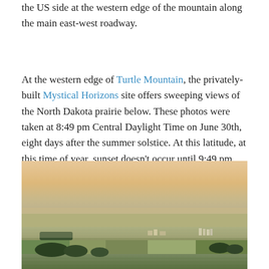the US side at the western edge of the mountain along the main east-west roadway.
At the western edge of Turtle Mountain, the privately-built Mystical Horizons site offers sweeping views of the North Dakota prairie below. These photos were taken at 8:49 pm Central Daylight Time on June 30th, eight days after the summer solstice. At this latitude, at this time of year, sunset doesn't occur until 9:49 pm.
[Figure (photo): Aerial panoramic photo of North Dakota prairie landscape taken from Turtle Mountain, showing flat agricultural fields, farmsteads, and trees in the foreground below, with a warm hazy sky at dusk.]